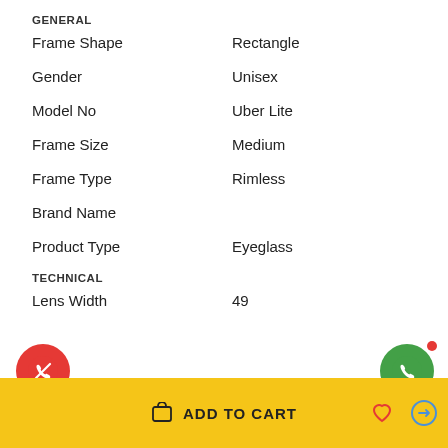GENERAL
| Attribute | Value |
| --- | --- |
| Frame Shape | Rectangle |
| Gender | Unisex |
| Model No | Uber Lite |
| Frame Size | Medium |
| Frame Type | Rimless |
| Brand Name |  |
| Product Type | Eyeglass |
TECHNICAL
| Attribute | Value |
| --- | --- |
| Lens Width | 49 |